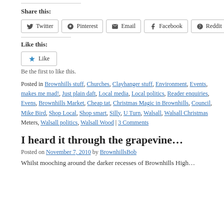Share this:
Twitter | Pinterest | Email | Facebook | Reddit
Like this:
Like - Be the first to like this.
Posted in Brownhills stuff, Churches, Clayhanger stuff, Environment, Events, makes me mad!, Just plain daft, Local media, Local politics, Reader enquiries, Evens, Brownhills Market, Cheap tat, Christmas Magic in Brownhills, Council, Mike Bird, Shop Local, Shop smart, Silly, U Turn, Walsall, Walsall Christmas, Meters, Walsall politics, Walsall Wood | 3 Comments
I heard it through the grapevine…
Posted on November 7, 2010 by BrownhillsBob
Whilst mooching around the darker recesses of Brownhills High…